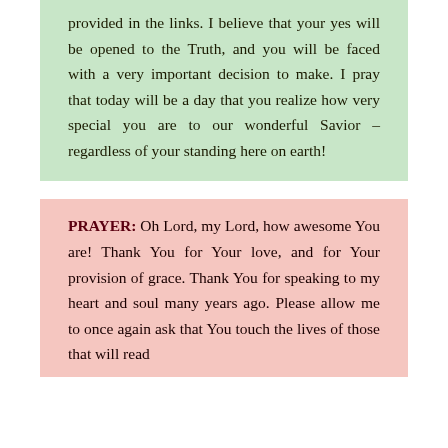provided in the links. I believe that your yes will be opened to the Truth, and you will be faced with a very important decision to make. I pray that today will be a day that you realize how very special you are to our wonderful Savior – regardless of your standing here on earth!
PRAYER: Oh Lord, my Lord, how awesome You are! Thank You for Your love, and for Your provision of grace. Thank You for speaking to my heart and soul many years ago. Please allow me to once again ask that You touch the lives of those that will read